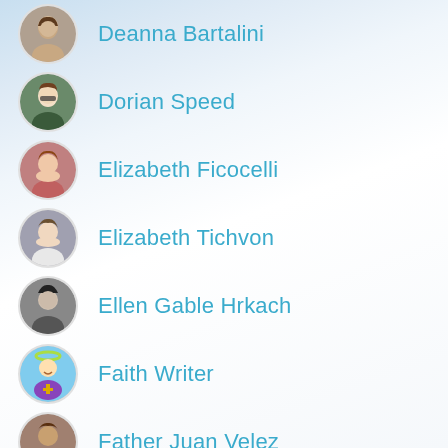Deanna Bartalini
Dorian Speed
Elizabeth Ficocelli
Elizabeth Tichvon
Ellen Gable Hrkach
Faith Writer
Father Juan Velez